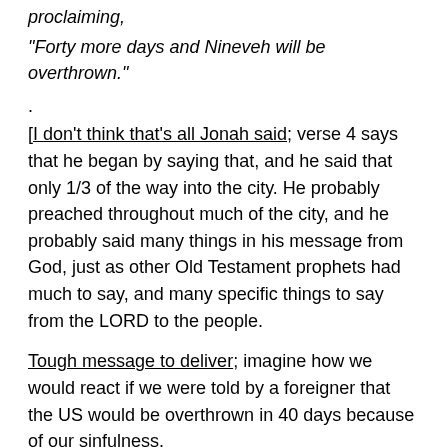proclaiming,
“Forty more days and Nineveh will be overthrown.”
.
[I don’t think that’s all Jonah said; verse 4 says that he began by saying that, and he said that only 1/3 of the way into the city. He probably preached throughout much of the city, and he probably said many things in his message from God, just as other Old Testament prophets had much to say, and many specific things to say from the LORD to the people.
Tough message to deliver; imagine how we would react if we were told by a foreigner that the US would be overthrown in 40 days because of our sinfulness.
By the grace of God, the king of Ninevah understands that Ninevah’s situation—